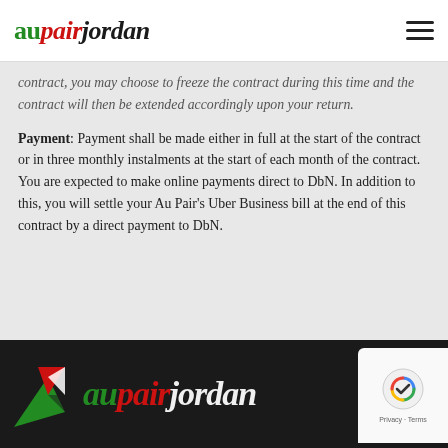aupairjordan
contract, you may choose to freeze the contract during this time and the contract will then be extended accordingly upon your return.
Payment: Payment shall be made either in full at the start of the contract or in three monthly instalments at the start of each month of the contract. You are expected to make online payments direct to DbN. In addition to this, you will settle your Au Pair's Uber Business bill at the end of this contract by a direct payment to DbN.
aupairjordan